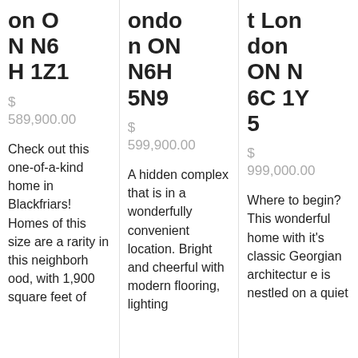on O N N6 H 1Z1
$ 589,900.00
Check out this one-of-a-kind home in Blackfriars! Homes of this size are a rarity in this neighborhood, with 1,900 square feet of
ondo n ON N6H 5N9
$ 599,900.00
A hidden complex that is in a wonderfully convenient location. Bright and cheerful with modern flooring, lighting
t London ON N 6C 1Y 5
$ 999,000.00
Where to begin? This wonderful home with it's classic Georgian architecture is nestled on a quiet